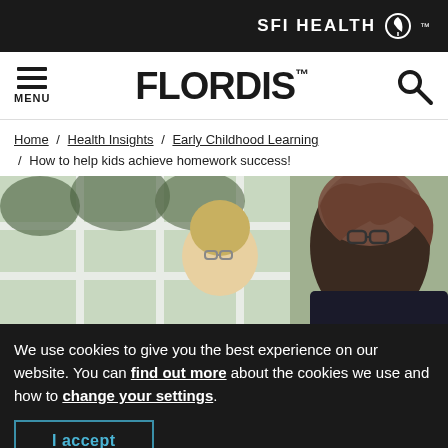SFI HEALTH
[Figure (logo): Flordis logo with hamburger menu icon and search icon in navigation bar]
Home / Health Insights / Early Childhood Learning / How to help kids achieve homework success!
[Figure (photo): Photo of a woman with glasses and a child looking down together, likely at homework, in front of a window]
We use cookies to give you the best experience on our website. You can find out more about the cookies we use and how to change your settings.
I accept